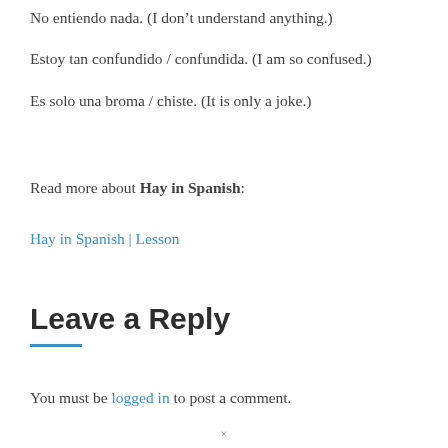No entiendo nada. (I don't understand anything.)
Estoy tan confundido / confundida. (I am so confused.)
Es solo una broma / chiste. (It is only a joke.)
Read more about Hay in Spanish:
Hay in Spanish | Lesson
Leave a Reply
You must be logged in to post a comment.